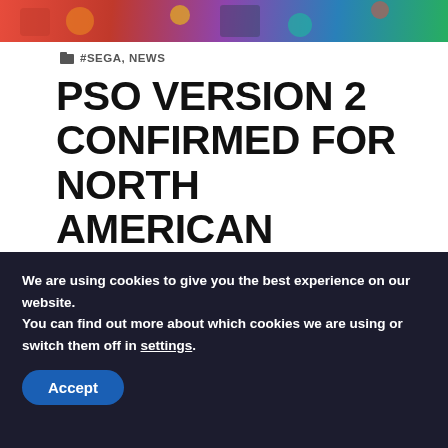[Figure (photo): Colorful banner image at top of webpage, appears to be game-related artwork with vivid colors]
#SEGA, NEWS
PSO VERSION 2 CONFIRMED FOR NORTH AMERICAN RELEASE
25TH APRIL 2001  DREADKNUX
It's official – Phantasy Star Online ver 2 will indeed be hitting North American Dreamcast
We are using cookies to give you the best experience on our website.
You can find out more about which cookies we are using or switch them off in settings.
Accept